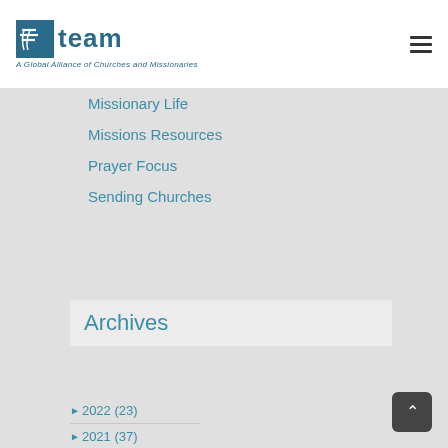[Figure (logo): TEAM logo — A Global Alliance of Churches and Missionaries]
Missionary Life
Missions Resources
Prayer Focus
Sending Churches
Archives
► 2022 (23)
► 2021 (37)
► 2020 (54)
► 2019 (52)
► 2018 (63)
► 2017 (62)